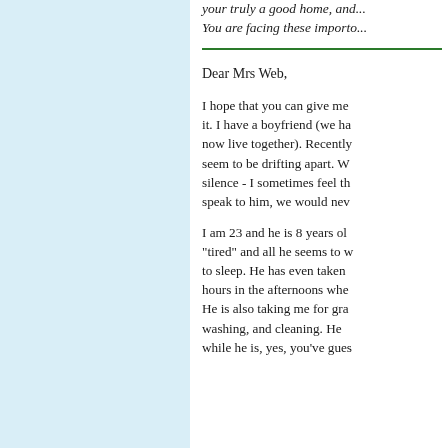your truly a good home, and... You are facing these importo...
Dear Mrs Web,
I hope that you can give me it. I have a boyfriend (we ha now live together). Recently seem to be drifting apart. W silence - I sometimes feel th speak to him, we would nev
I am 23 and he is 8 years ol "tired" and all he seems to w to sleep. He has even taken hours in the afternoons whe He is also taking me for gra washing, and cleaning. He while he is, yes, you've gues